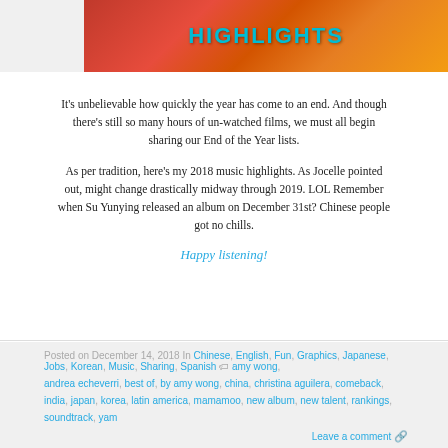[Figure (illustration): Banner image with abstract red/orange/yellow background and the word HIGHLIGHTS in teal/cyan bold uppercase letters]
It's unbelievable how quickly the year has come to an end. And though there's still so many hours of un-watched films, we must all begin sharing our End of the Year lists.
As per tradition, here's my 2018 music highlights. As Jocelle pointed out, might change drastically midway through 2019. LOL Remember when Su Yunying released an album on December 31st? Chinese people got no chills.
Happy listening!
Posted on December 14, 2018 In Chinese, English, Fun, Graphics, Japanese, Jobs, Korean, Music, Sharing, Spanish  amy wong, andrea echeverri, best of, by amy wong, china, christina aguilera, comeback, india, japan, korea, latin america, mamamoo, new album, new talent, rankings, soundtrack, yam Leave a comment